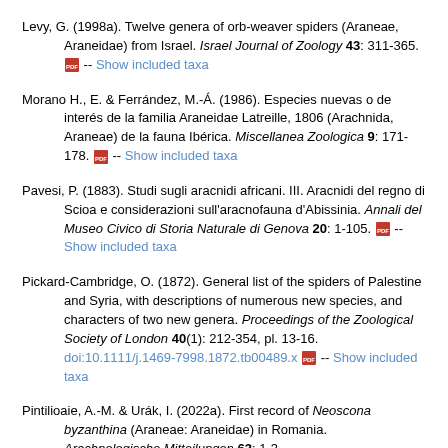Levy, G. (1998a). Twelve genera of orb-weaver spiders (Araneae, Araneidae) from Israel. Israel Journal of Zoology 43: 311-365. [PDF] -- Show included taxa
Morano H., E. & Ferrández, M.-Á. (1986). Especies nuevas o de interés de la familia Araneidae Latreille, 1806 (Arachnida, Araneae) de la fauna Ibérica. Miscellanea Zoologica 9: 171-178. [PDF] -- Show included taxa
Pavesi, P. (1883). Studi sugli aracnidi africani. III. Aracnidi del regno di Scioa e considerazioni sull'aracnofauna d'Abissinia. Annali del Museo Civico di Storia Naturale di Genova 20: 1-105. [PDF] -- Show included taxa
Pickard-Cambridge, O. (1872). General list of the spiders of Palestine and Syria, with descriptions of numerous new species, and characters of two new genera. Proceedings of the Zoological Society of London 40(1): 212-354, pl. 13-16. doi:10.1111/j.1469-7998.1872.tb00489.x [PDF] -- Show included taxa
Pintilioaie, A.-M. & Urák, I. (2022a). First record of Neoscona byzanthina (Araneae: Araneidae) in Romania. Arachnologische Mitteilungen 63: 1-3. doi:10.30963/aramit6301 [PDF] -- Show included taxa